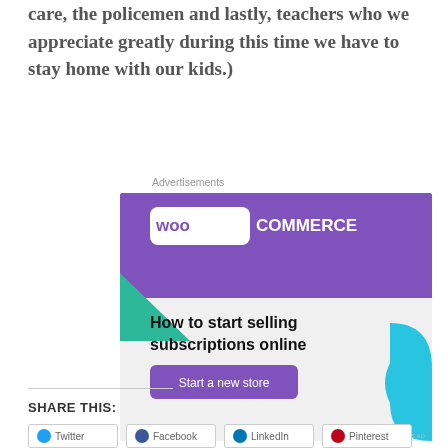care, the policemen and lastly, teachers who we appreciate greatly during this time we have to stay home with our kids.)
[Figure (illustration): WooCommerce advertisement banner with purple header showing WooCommerce logo, teal triangle shape on left, cyan curved shape on right, text reading 'How to start selling subscriptions online' and a purple 'Start a new store' button.]
SHARE THIS: